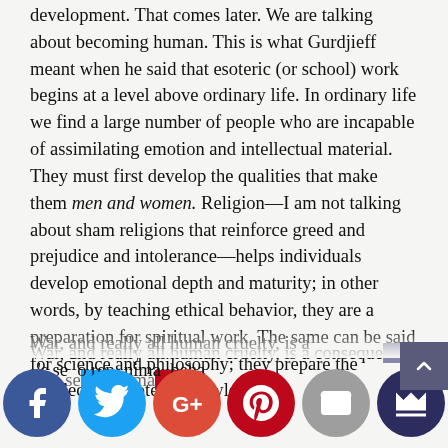development. That comes later. We are talking about becoming human. This is what Gurdjieff meant when he said that esoteric (or school) work begins at a level above ordinary life. In ordinary life we find a large number of people who are incapable of assimilating emotion and intellectual material. They must first develop the qualities that make them men and women. Religion—I am not talking about sham religions that reinforce greed and prejudice and intolerance—helps individuals develop emotional depth and maturity; in other words, by teaching ethical behavior, they are a preparation for spiritual work. The same can be said for science and philosophy; they prepare the intellect for esoteric knowledge.
War, and really all human cruelty, is a consequence of 's se o rep nima beha human val s. The h ors of w are imp ssions t
[Figure (other): Social sharing buttons bar at bottom: Facebook, Twitter, Google+, Pinterest, Email, and a crown/bookmark icon. A scroll-to-top arrow button is also visible.]